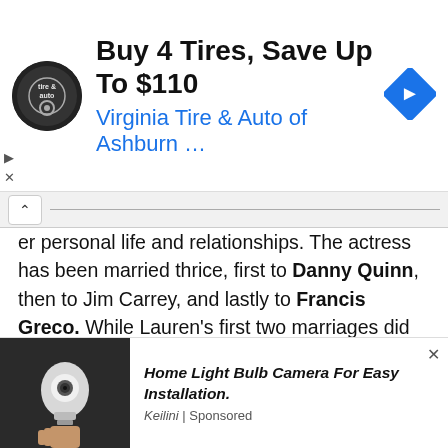[Figure (screenshot): Advertisement banner: Virginia Tire & Auto of Ashburn — Buy 4 Tires, Save Up To $110, with circular logo and blue navigation arrow icon]
er personal life and relationships. The actress has been married thrice, first to Danny Quinn, then to Jim Carrey, and lastly to Francis Greco. While Lauren's first two marriages did not last long, her marriage with Francis lasted for around thirteen years. In those thirteen years, the former couple adopted three children.
However, the former pair have not revealed much about their kids. So, why not get to know one of Lauren Holly's sons, Alexander Joseph Greco, in this article.
[Figure (screenshot): Bottom advertisement: Home Light Bulb Camera For Easy Installation. Keilini | Sponsored — with image of a light bulb camera]